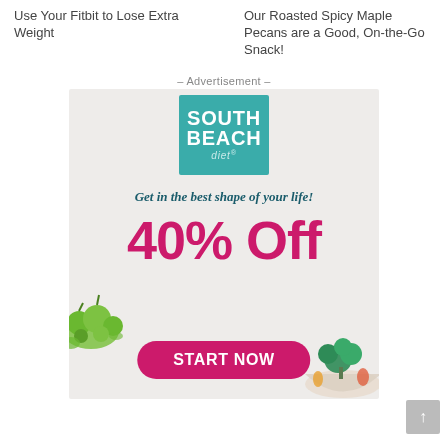Use Your Fitbit to Lose Extra Weight
Our Roasted Spicy Maple Pecans are a Good, On-the-Go Snack!
– Advertisement –
[Figure (infographic): South Beach Diet advertisement showing logo, tagline 'Get in the best shape of your life!', '40% Off' in large pink text, vegetables on both sides, and a pink 'START NOW' button.]